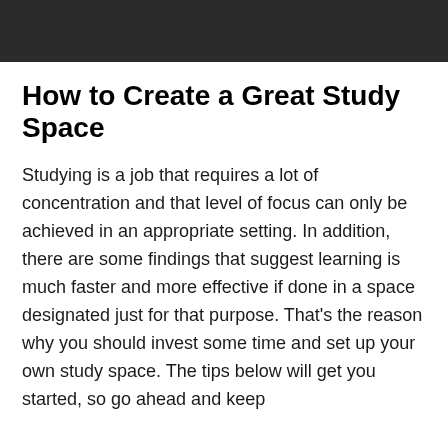How to Create a Great Study Space
Studying is a job that requires a lot of concentration and that level of focus can only be achieved in an appropriate setting. In addition, there are some findings that suggest learning is much faster and more effective if done in a space designated just for that purpose. That’s the reason why you should invest some time and set up your own study space. The tips below will get you started, so go ahead and keep